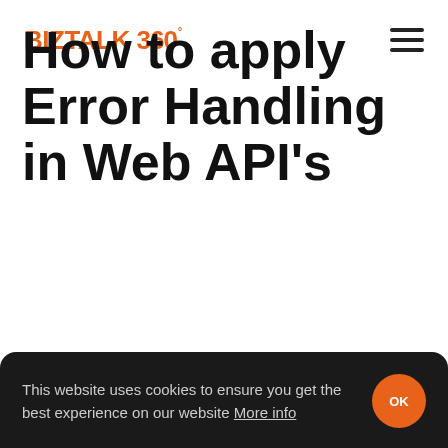BIZTALK 360
How to apply Error Handling in Web API's
This website uses cookies to ensure you get the best experience on our website More info